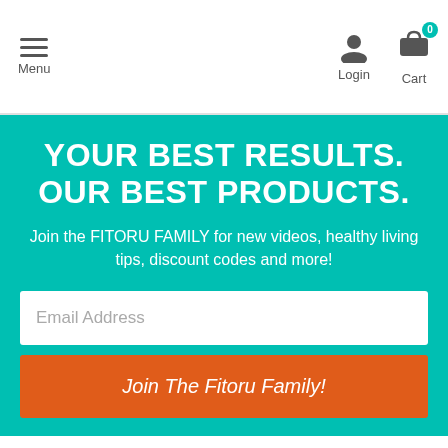Menu | Login | Cart 0
YOUR BEST RESULTS. OUR BEST PRODUCTS.
Join the FITORU FAMILY for new videos, healthy living tips, discount codes and more!
Email Address
Join The Fitoru Family!
ABOUT FITORU
HOME
PRIVACY POLICY
MONEY BACK GUARANTEE